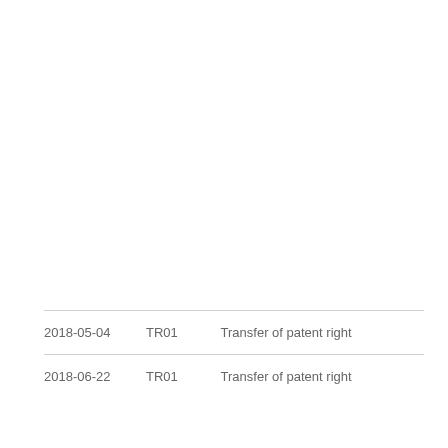| Date | Code | Description |
| --- | --- | --- |
| 2018-05-04 | TR01 | Transfer of patent right |
| 2018-06-22 | TR01 | Transfer of patent right |